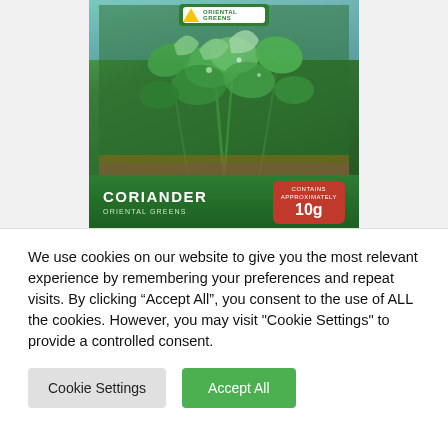[Figure (photo): A seed packet for Coriander Oriental Greens, showing lush green coriander plants on the front. The packet has a green background with a yellow triangle logo at the top. At the bottom of the packet is a dark green label reading 'CORIANDER' and 'ORIENTAL GREENS', with a red badge on the right showing 'CONTAINS APPROXIMATELY 10g'.]
We use cookies on our website to give you the most relevant experience by remembering your preferences and repeat visits. By clicking "Accept All", you consent to the use of ALL the cookies. However, you may visit "Cookie Settings" to provide a controlled consent.